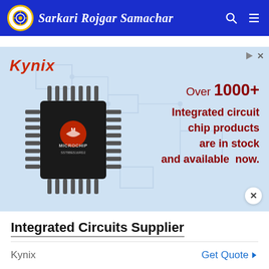Sarkari Rojgar Samachar
[Figure (screenshot): Kynix advertisement banner showing a Microchip integrated circuit chip with text: Over 1000+ Integrated circuit chip products are in stock and available now.]
Integrated Circuits Supplier
Kynix   Get Quote >